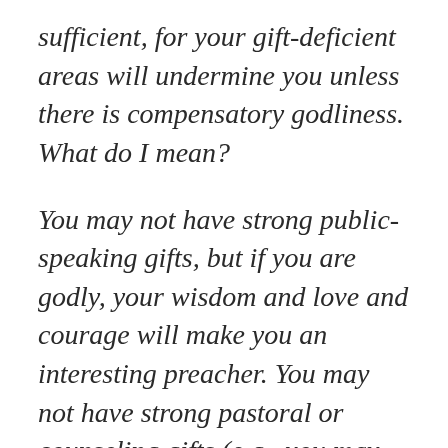sufficient, for your gift-deficient areas will undermine you unless there is compensatory godliness. What do I mean?
You may not have strong public-speaking gifts, but if you are godly, your wisdom and love and courage will make you an interesting preacher. You may not have strong pastoral or counseling gifts (e.g., you may be